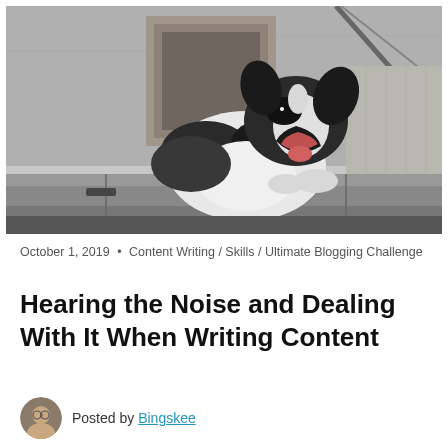[Figure (photo): Black and white photograph of a border collie dog with mouth open (barking/yawning), leaning over a concrete ledge. Background shows a wooden door frame and bare branches. Grayscale image.]
October 1, 2019 • Content Writing / Skills / Ultimate Blogging Challenge
Hearing the Noise and Dealing With It When Writing Content
Posted by Bingskee